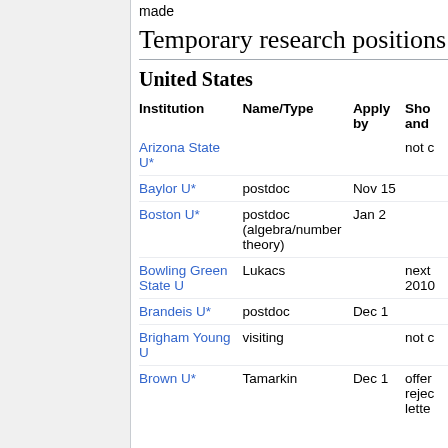made
Temporary research positions
United States
| Institution | Name/Type | Apply by | Sho and |
| --- | --- | --- | --- |
| Arizona State U* |  |  | not c |
| Baylor U* | postdoc | Nov 15 |  |
| Boston U* | postdoc (algebra/number theory) | Jan 2 |  |
| Bowling Green State U | Lukacs |  | next 2010 |
| Brandeis U* | postdoc | Dec 1 |  |
| Brigham Young U | visiting |  | not c |
| Brown U* | Tamarkin | Dec 1 | offer rejec lette |